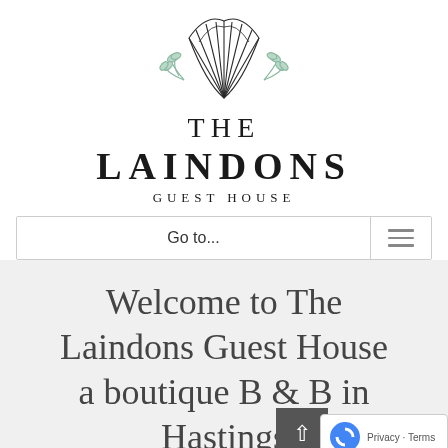[Figure (logo): Shell/scallop logo with botanical leaf decorations in mint green and dark outline, for The Laindons Guest House]
THE LAINDONS GUEST HOUSE
Go to...
Welcome to The Laindons Guest House a boutique B & B in Hastings